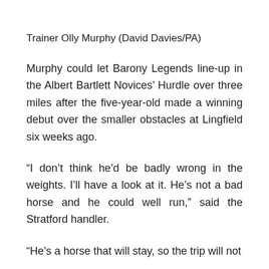Trainer Olly Murphy (David Davies/PA)
Murphy could let Barony Legends line-up in the Albert Bartlett Novices' Hurdle over three miles after the five-year-old made a winning debut over the smaller obstacles at Lingfield six weeks ago.
“I don’t think he’d be badly wrong in the weights. I’ll have a look at it. He’s not a bad horse and he could well run,” said the Stratford handler.
“He’s a horse that will stay, so the trip will not